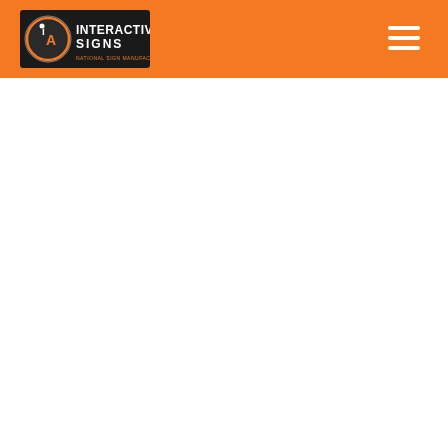Interactive Signs - navigation header with logo and hamburger menu
[Figure (logo): Interactive Signs logo: circular 'iA' emblem on black rectangular background with text 'INTERACTIVE SIGNS' in white/orange and subtitle text below]